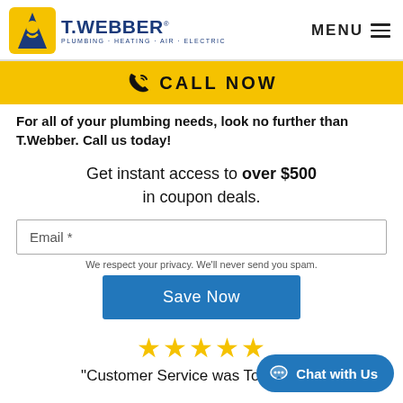T.WEBBER PLUMBING · HEATING · AIR · ELECTRIC | MENU
CALL NOW
For all of your plumbing needs, look no further than T.Webber. Call us today!
Get instant access to over $500 in coupon deals.
Email *
We respect your privacy. We'll never send you spam.
Save Now
★★★★★
"Customer Service was Top Notch!"